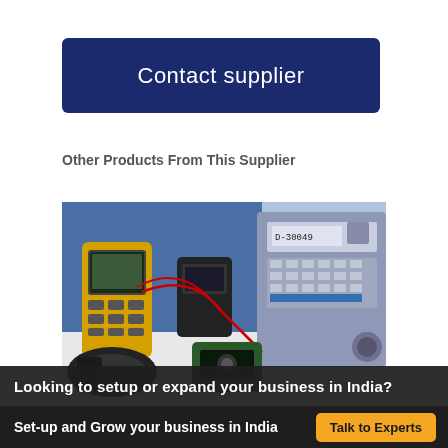Contact supplier
Other Products From This Supplier
[Figure (photo): Electronic test and measurement equipment including handheld oscilloscope/multimeter, clamp meter, and a rack-mounted signal analyzer/generator on a white surface with red probe cables]
Looking to setup or expand your business in India?
Set-up and Grow your business in India
Talk to Experts